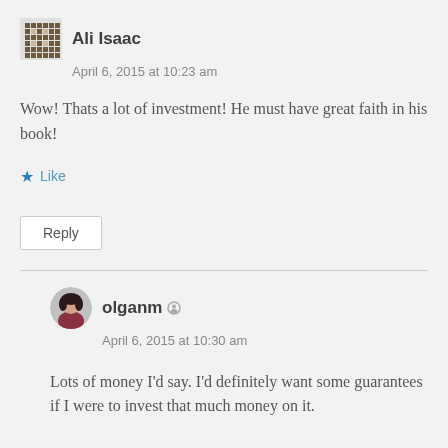Ali Isaac
April 6, 2015 at 10:23 am
Wow! Thats a lot of investment! He must have great faith in his book!
Like
Reply
olganm
April 6, 2015 at 10:30 am
Lots of money I'd say. I'd definitely want some guarantees if I were to invest that much money on it.